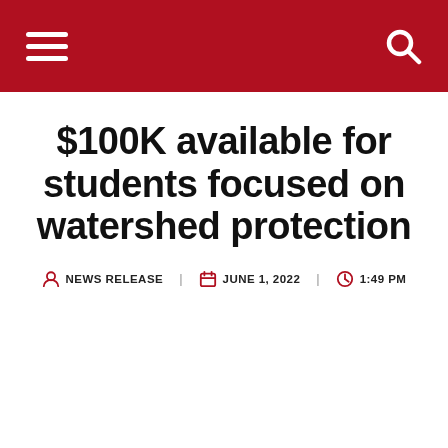Navigation bar with menu and search icons
$100K available for students focused on watershed protection
NEWS RELEASE   JUNE 1, 2022   1:49 PM